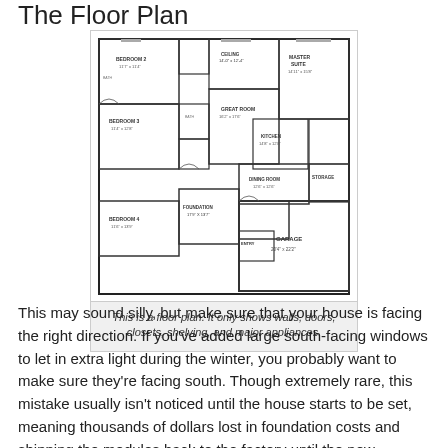The Floor Plan
[Figure (engineering-diagram): A detailed architectural floor plan showing rooms including bedrooms, great room, kitchen, dining room, garage, master suite, storage, and other spaces with walls, doors, closets, shelving, and major appliances indicated.]
This is a floor plan. It only shows walls, doors, closets, shelving, and major appliances.
This may sound silly, but make sure that your house is facing the right direction. If you've added large south-facing windows to let in extra light during the winter, you probably want to make sure they're facing south. Though extremely rare, this mistake usually isn't noticed until the house starts to be set, meaning thousands of dollars lost in foundation costs and shipping the modules back to the factory until the new foundation can be prepared. The price is